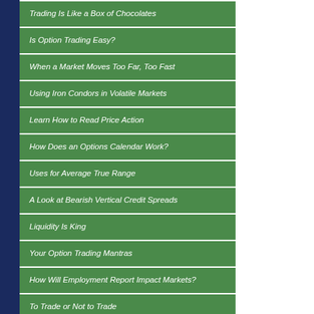Trading Is Like a Box of Chocolates
Is Option Trading Easy?
When a Market Moves Too Far, Too Fast
Using Iron Condors in Volatile Markets
Learn How to Read Price Action
How Does an Options Calendar Work?
Uses for Average True Range
A Look at Bearish Vertical Credit Spreads
Liquidity Is King
Your Option Trading Mantras
How Will Employment Report Impact Markets?
To Trade or Not to Trade